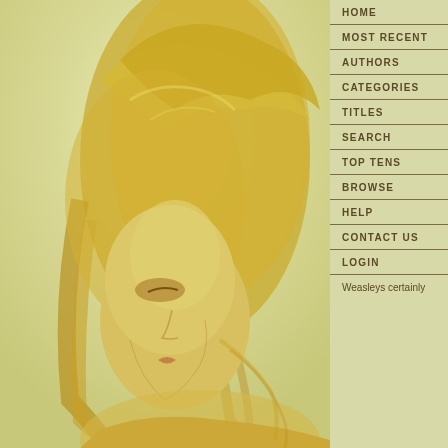[Figure (illustration): Digital painting of a woman with long flowing golden/blonde hair viewed in profile, facing left. Warm golden-yellow color palette throughout. The woman has delicate features and appears to have bare shoulders. Painterly illustration style.]
HOME
MOST RECENT
AUTHORS
CATEGORIES
TITLES
SEARCH
TOP TENS
BROWSE
HELP
CONTACT US
LOGIN
Weasleys certainly